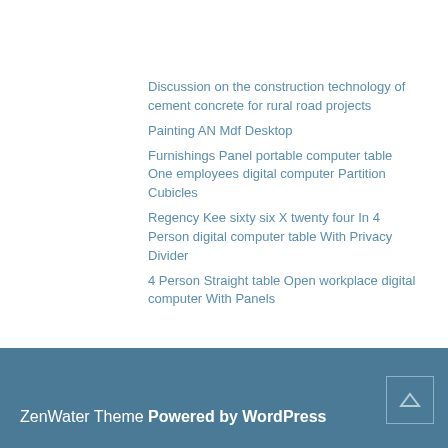Discussion on the construction technology of cement concrete for rural road projects
Painting AN Mdf Desktop
Furnishings Panel portable computer table One employees digital computer Partition Cubicles
Regency Kee sixty six X twenty four In 4 Person digital computer table With Privacy Divider
4 Person Straight table Open workplace digital computer With Panels
arm cylinder excavator cement concrete fittings black black iron fittings office desk factory
Categories for sale steel pipe
ZenWater Theme Powered by WordPress